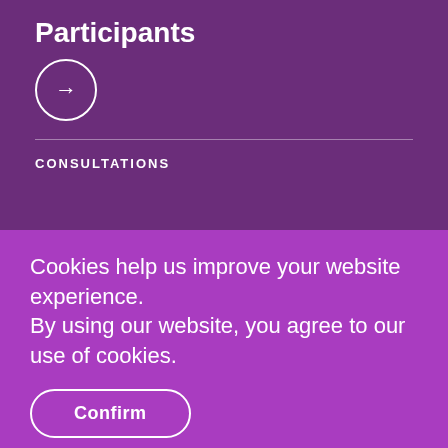Participants
[Figure (illustration): Circle with right-pointing arrow icon]
CONSULTATIONS
Cookies help us improve your website experience.
By using our website, you agree to our use of cookies.
Confirm